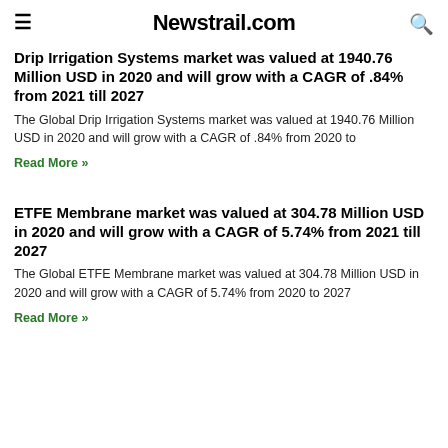Newstrail.com
Drip Irrigation Systems market was valued at 1940.76 Million USD in 2020 and will grow with a CAGR of .84% from 2021 till 2027
The Global Drip Irrigation Systems market was valued at 1940.76 Million USD in 2020 and will grow with a CAGR of .84% from 2020 to
Read More »
ETFE Membrane market was valued at 304.78 Million USD in 2020 and will grow with a CAGR of 5.74% from 2021 till 2027
The Global ETFE Membrane market was valued at 304.78 Million USD in 2020 and will grow with a CAGR of 5.74% from 2020 to 2027
Read More »